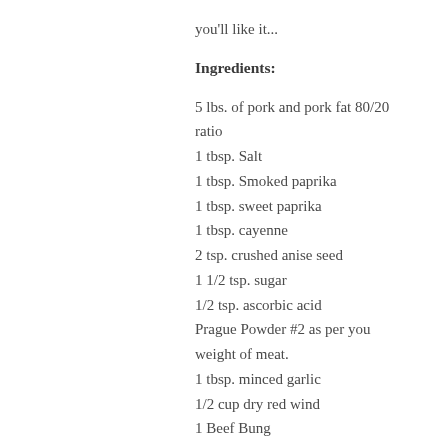you'll like it...
Ingredients:
5 lbs. of pork and pork fat 80/20 ratio
1 tbsp. Salt
1 tbsp. Smoked paprika
1 tbsp. sweet paprika
1 tbsp. cayenne
2 tsp. crushed anise seed
1 1/2 tsp. sugar
1/2 tsp. ascorbic acid
Prague Powder #2 as per you weight of meat.
1 tbsp. minced garlic
1/2 cup dry red wind
1 Beef Bung
Steps: